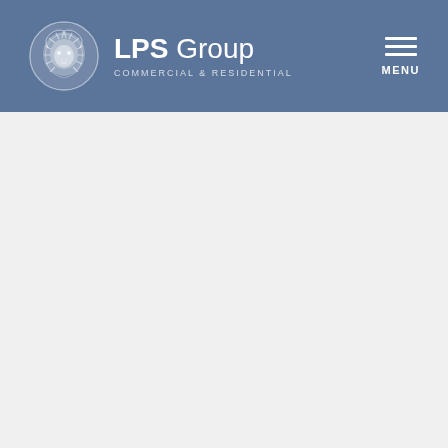[Figure (logo): LPS Group Commercial & Residential logo with lion head emblem in a circle on a steel blue header bar with hamburger menu icon and MENU label on the right]